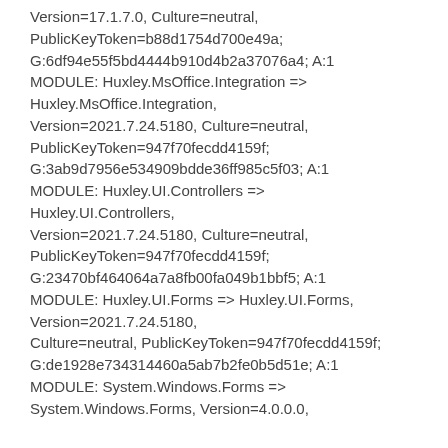Version=17.1.7.0, Culture=neutral, PublicKeyToken=b88d1754d700e49a; G:6df94e55f5bd4444b910d4b2a37076a4; A:1 MODULE: Huxley.MsOffice.Integration => Huxley.MsOffice.Integration, Version=2021.7.24.5180, Culture=neutral, PublicKeyToken=947f70fecdd4159f; G:3ab9d7956e534909bdde36ff985c5f03; A:1 MODULE: Huxley.UI.Controllers => Huxley.UI.Controllers, Version=2021.7.24.5180, Culture=neutral, PublicKeyToken=947f70fecdd4159f; G:23470bf464064a7a8fb00fa049b1bbf5; A:1 MODULE: Huxley.UI.Forms => Huxley.UI.Forms, Version=2021.7.24.5180, Culture=neutral, PublicKeyToken=947f70fecdd4159f; G:de1928e734314460a5ab7b2fe0b5d51e; A:1 MODULE: System.Windows.Forms => System.Windows.Forms, Version=4.0.0.0,